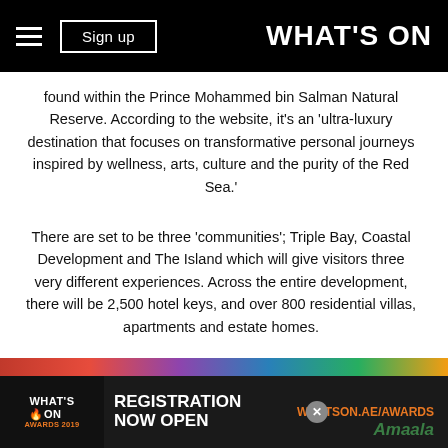Sign up | WHAT'S ON
found within the Prince Mohammed bin Salman Natural Reserve. According to the website, it's an 'ultra-luxury destination that focuses on transformative personal journeys inspired by wellness, arts, culture and the purity of the Red Sea.'
There are set to be three 'communities'; Triple Bay, Coastal Development and The Island which will give visitors three very different experiences. Across the entire development, there will be 2,500 hotel keys, and over 800 residential villas, apartments and estate homes.
Additionally, more than 200 retail establishments will be open, plus lots of amazing fine-dining restaurants, plus health, fitness and recreational facilities
[Figure (screenshot): What's On Awards 2019 advertisement banner: Registration Now Open, WhatsOn.ae/awards]